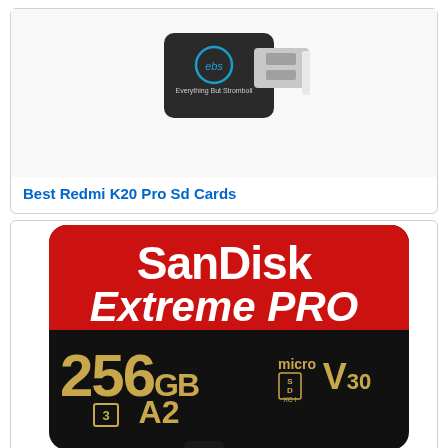[Figure (photo): Black USB card reader with 'ebs Everything But Stromboli' branding logo on it, showing a USB connector]
Best Redmi K20 Pro Sd Cards
[Figure (photo): SanDisk Extreme PRO 256GB microSDXC V30 A2 U3 memory card with red and black design]